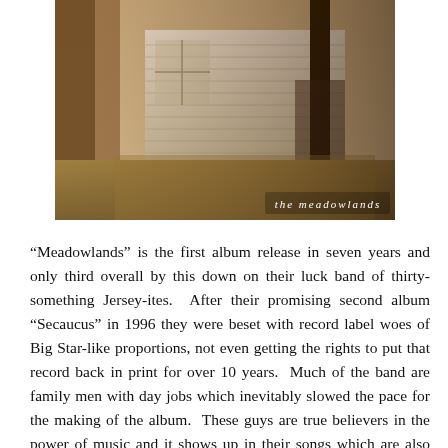[Figure (photo): Sepia-toned album cover photograph showing an old weathered white wooden shed or barn with dry grass and overgrown vegetation at its base. The text 'the meadowlands' appears in white lowercase serif font at the bottom right of the image.]
“Meadowlands” is the first album release in seven years and only third overall by this down on their luck band of thirty-something Jersey-ites.  After their promising second album “Secaucus” in 1996 they were beset with record label woes of Big Star-like proportions, not even getting the rights to put that record back in print for over 10 years.  Much of the band are family men with day jobs which inevitably slowed the pace for the making of the album.  These guys are true believers in the power of music and it shows up in their songs which are also filled with sadness, hopelessness and